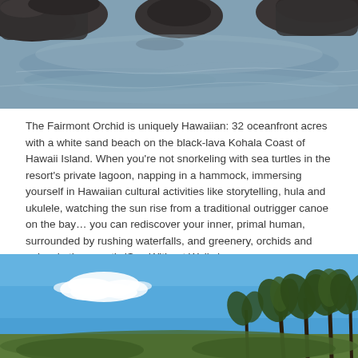[Figure (photo): Aerial or elevated view of a rocky coastal lava shelf with calm blue-grey ocean water, dark volcanic rocks visible at top-left, top-center, and top-right of frame.]
The Fairmont Orchid is uniquely Hawaiian: 32 oceanfront acres with a white sand beach on the black-lava Kohala Coast of Hawaii Island. When you’re not snorkeling with sea turtles in the resort’s private lagoon, napping in a hammock, immersing yourself in Hawaiian cultural activities like storytelling, hula and ukulele, watching the sun rise from a traditional outrigger canoe on the bay… you can rediscover your inner, primal human, surrounded by rushing waterfalls, and greenery, orchids and palms in the resort’s ‘Spa Without Walls.’
[Figure (photo): Photo of tall palm trees silhouetted against a bright blue sky with small white clouds; tropical resort setting.]